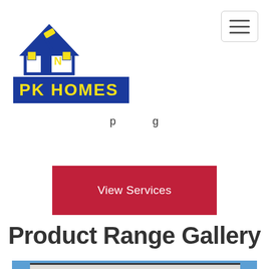[Figure (logo): PK Homes company logo with house/hammer icon above blue banner with yellow 'PK HOMES' text]
p g
View Services
Product Range Gallery
[Figure (photo): Exterior of a modern residential building with grey cladding and dark-framed windows against a blue sky]